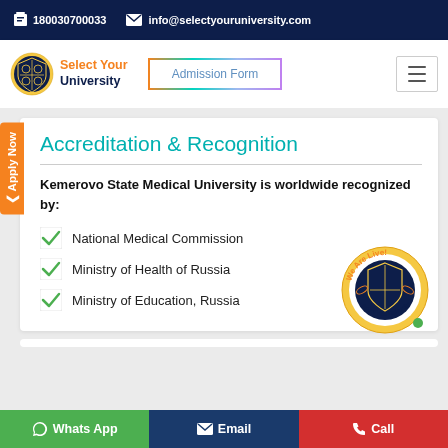180030700033   info@selectyouruniversity.com
[Figure (logo): Select Your University logo with shield emblem and orange/navy text]
Admission Form
Accreditation & Recognition
Kemerovo State Medical University is worldwide recognized by:
National Medical Commission
Ministry of Health of Russia
Ministry of Education, Russia
[Figure (logo): We Are Live! circular badge with university shield]
WhatsApp   Email   Call